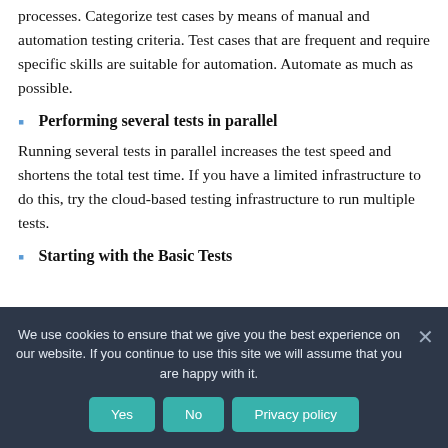processes. Categorize test cases by means of manual and automation testing criteria. Test cases that are frequent and require specific skills are suitable for automation. Automate as much as possible.
Performing several tests in parallel
Running several tests in parallel increases the test speed and shortens the total test time. If you have a limited infrastructure to do this, try the cloud-based testing infrastructure to run multiple tests.
Starting with the Basic Tests
We use cookies to ensure that we give you the best experience on our website. If you continue to use this site we will assume that you are happy with it.